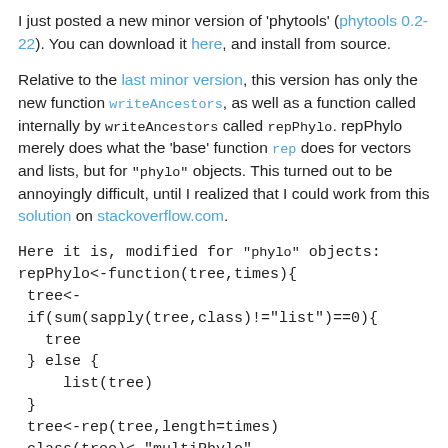I just posted a new minor version of 'phytools' (phytools 0.2-22). You can download it here, and install from source.
Relative to the last minor version, this version has only the new function writeAncestors, as well as a function called internally by writeAncestors called repPhylo. repPhylo merely does what the 'base' function rep does for vectors and lists, but for "phylo" objects. This turned out to be annoyingly difficult, until I realized that I could work from this solution on stackoverflow.com.
Here it is, modified for "phylo" objects:
repPhylo<-function(tree,times){
 tree<-
 if(sum(sapply(tree,class)!="list")==0){
   tree
 } else {
     list(tree)
 }
 tree<-rep(tree,length=times)
 class(tree)<-"multiPhylo"